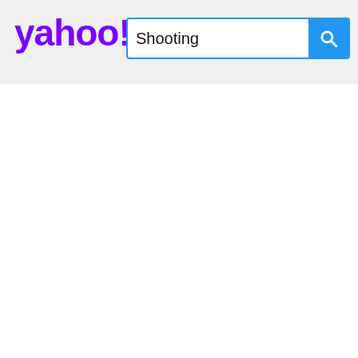[Figure (screenshot): Yahoo search bar screenshot showing the Yahoo logo in purple on the left and a search input box with the text 'Shooting' and a blue search button with magnifying glass icon on the right. The header area has a light gray background. The rest of the page is white and empty.]